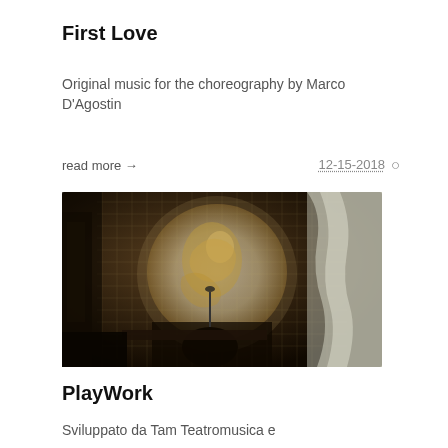First Love
Original music for the choreography by Marco D'Agostin
read more →
12-15-2018 |
[Figure (photo): Dark performance photo showing a circular projection on a mesh screen with a figure/cherub image, musician silhouette in foreground with instruments]
PlayWork
Sviluppato da Tam Teatromusica e